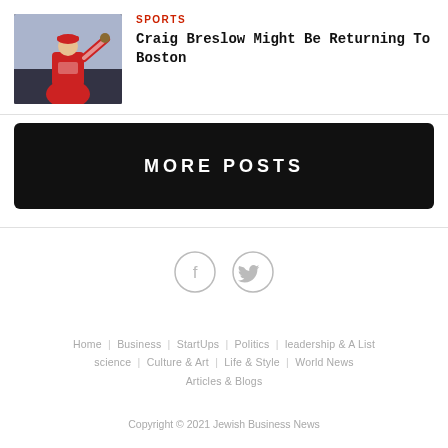[Figure (photo): Baseball pitcher in red uniform throwing a pitch]
SPORTS
Craig Breslow Might Be Returning To Boston
MORE POSTS
[Figure (other): Social media icons: Facebook and Twitter in circles]
Home  Business  StartUps  Politics  leadership & A List  science  Culture & Art  Life & Style  World News  Articles & Blogs
Copyright © 2021 Jewish Business News